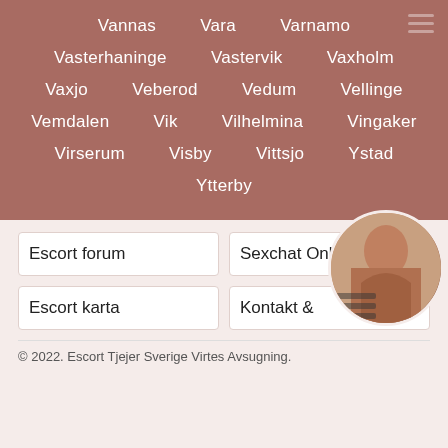Vannas   Vara   Varnamo
Vasterhaninge   Vastervik   Vaxholm
Vaxjo   Veberod   Vedum   Vellinge
Vemdalen   Vik   Vilhelmina   Vingaker
Virserum   Visby   Vittsjo   Ystad
Ytterby
Escort forum
Sexchat Online
Escort karta
Kontakt &
[Figure (photo): Circular cropped photo of a woman's torso]
© 2022. Escort Tjejer Sverige Virtes Avsugning.